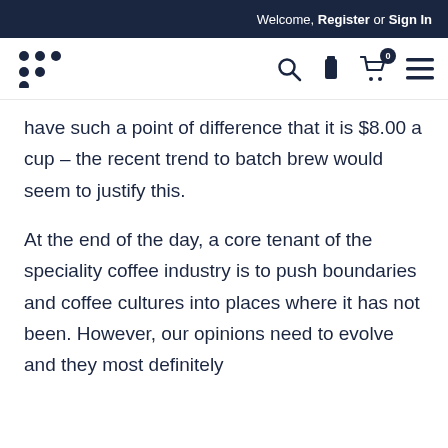Welcome, Register or Sign In
[Figure (logo): Dot grid logo mark — six dots arranged in a 3-2-1 triangular pattern, dark navy color]
have such a point of difference that it is $8.00 a cup – the recent trend to batch brew would seem to justify this.
At the end of the day, a core tenant of the speciality coffee industry is to push boundaries and coffee cultures into places where it has not been. However, our opinions need to evolve and they most definitely